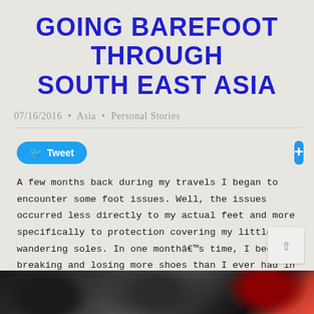GOING BAREFOOT THROUGH SOUTH EAST ASIA
07/16/2016 • Asia • Personal Stories
[Figure (screenshot): Tweet button and plus/share button social media bar]
A few months back during my travels I began to encounter some foot issues. Well, the issues occurred less directly to my actual feet and more specifically to protection covering my little wandering soles. In one monthâ€™s time, I began breaking and losing more shoes than I ever had in my life.Â
[Figure (photo): Bottom portion of a photo showing shoes or feet, dark image with red tones on right side]